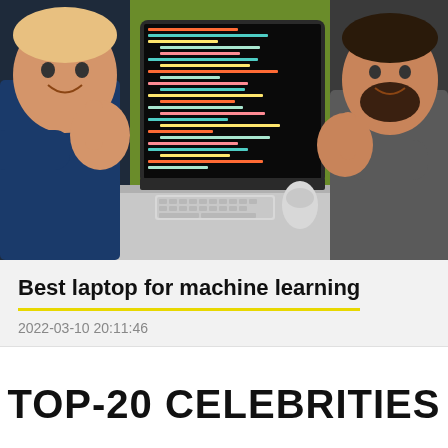[Figure (photo): Two men smiling and giving thumbs up in front of a large iMac monitor displaying colorful code editor on a dark background, with green wall visible]
Best laptop for machine learning
2022-03-10 20:11:46
TOP-20 CELEBRITIES